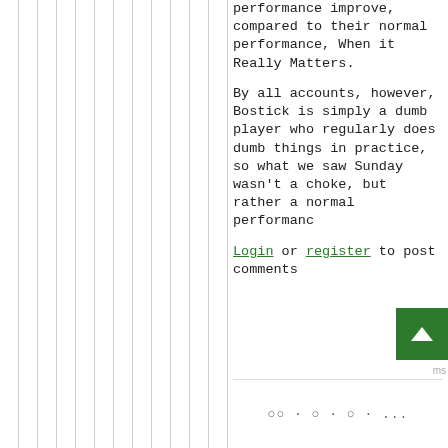performance improve, compared to their normal performance, When it Really Matters.

By all accounts, however, Bostick is simply a dumb player who regularly does dumb things in practice, so what we saw Sunday wasn't a choke, but rather a normal performanc
Login or register to post comments